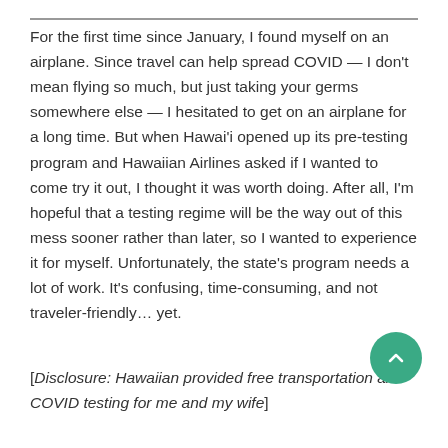For the first time since January, I found myself on an airplane. Since travel can help spread COVID — I don't mean flying so much, but just taking your germs somewhere else — I hesitated to get on an airplane for a long time. But when Hawai'i opened up its pre-testing program and Hawaiian Airlines asked if I wanted to come try it out, I thought it was worth doing. After all, I'm hopeful that a testing regime will be the way out of this mess sooner rather than later, so I wanted to experience it for myself. Unfortunately, the state's program needs a lot of work. It's confusing, time-consuming, and not traveler-friendly… yet.
[Disclosure: Hawaiian provided free transportation and COVID testing for me and my wife]